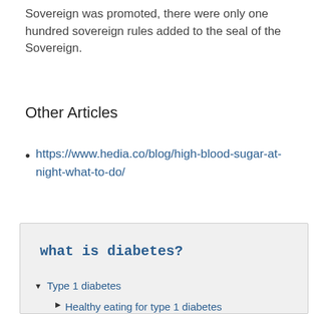Sovereign was promoted, there were only one hundred sovereign rules added to the seal of the Sovereign.
Other Articles
https://www.hedia.co/blog/high-blood-sugar-at-night-what-to-do/
what is diabetes?
Type 1 diabetes
Healthy eating for type 1 diabetes
Meal planning with type 1 diabetes
Checking and keeping track of blood sugar levels with type 1 diabetes
Insulin and type 1 diabetes
High blood sugar with type 1 diabetes